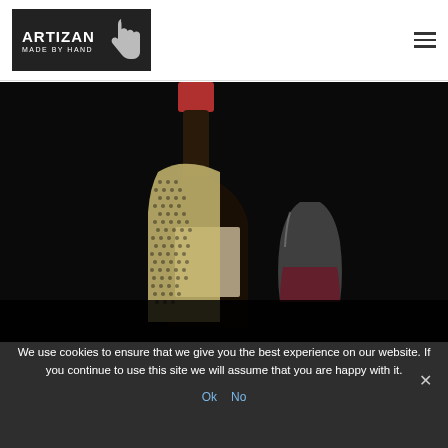[Figure (logo): Artizan Made By Hand logo — dark background box with white text 'ARTIZAN' and 'MADE BY HAND' beside a hand print icon]
[Figure (photo): A wine bottle wrapped in a cream/tan crochet mesh fabric covering, with a stemless wine glass containing red wine beside it, on a black background]
We use cookies to ensure that we give you the best experience on our website. If you continue to use this site we will assume that you are happy with it.
Ok  No